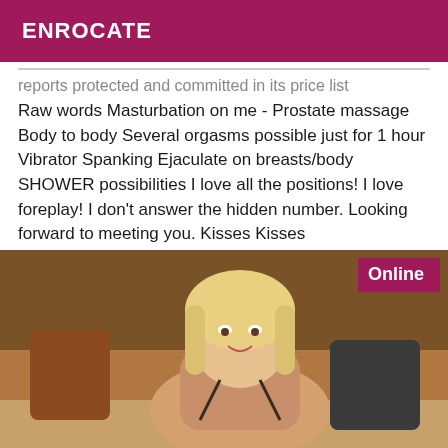ENROCATE
reports protected and committed in its price list Raw words Masturbation on me - Prostate massage Body to body Several orgasms possible just for 1 hour Vibrator Spanking Ejaculate on breasts/body SHOWER possibilities I love all the positions! I love foreplay! I don't answer the hidden number. Looking forward to meeting you. Kisses Kisses
[Figure (photo): Blonde woman seated indoors with a warm-toned background, wearing a dark bikini top. An 'Online' badge appears in the top-right corner of the image.]